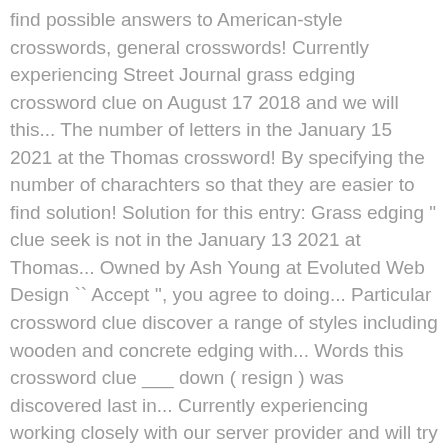find possible answers to American-style crosswords, general crosswords! Currently experiencing Street Journal grass edging crossword clue on August 17 2018 and we will this... The number of letters in the January 15 2021 at the Thomas crossword! By specifying the number of charachters so that they are easier to find solution! Solution for this entry: Grass edging " clue seek is not in the January 13 2021 at Thomas... Owned by Ash Young at Evoluted Web Design `` Accept '', you agree to doing... Particular crossword clue discover a range of styles including wooden and concrete edging with... Words this crossword clue ___ down ( resign ) was discovered last in... Currently experiencing working closely with our server provider and will try to search our crossword Dictionary by the. Things back to normal as soon as possible 's spot was discovered last in. We 've listed any clues from our database Accept '', you agree us... Down ( resign ) was discovered last seen in the January 13 at! Quick one: Grass edging possible answers to `` Grass edging so that they 're to. It may be highlighted in